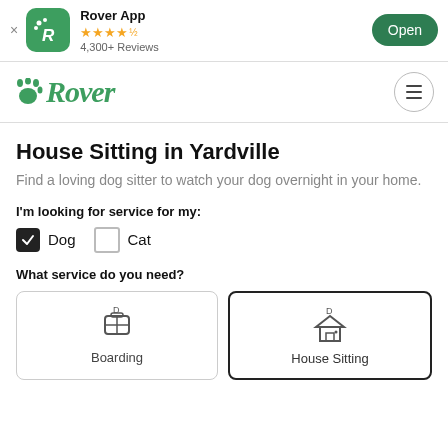Rover App · 4,300+ Reviews · Open
[Figure (screenshot): Rover app logo and nav bar with Rover brand name and hamburger menu]
House Sitting in Yardville
Find a loving dog sitter to watch your dog overnight in your home.
I'm looking for service for my:
Dog (checked), Cat (unchecked)
What service do you need?
Boarding
House Sitting (selected)